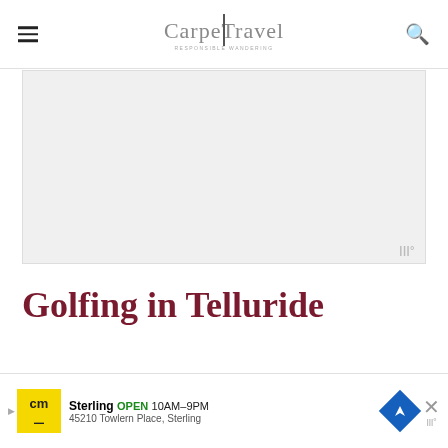CarpeTravel
[Figure (photo): Large light gray placeholder image block with a small watermark icon in the bottom right corner]
Golfing in Telluride
Th... ex...mple
[Figure (screenshot): Bottom advertisement banner: CM Cycling logo, Sterling store, OPEN 10AM-9PM, 45210 Towlern Place, Sterling, with navigation arrow icon and close button]